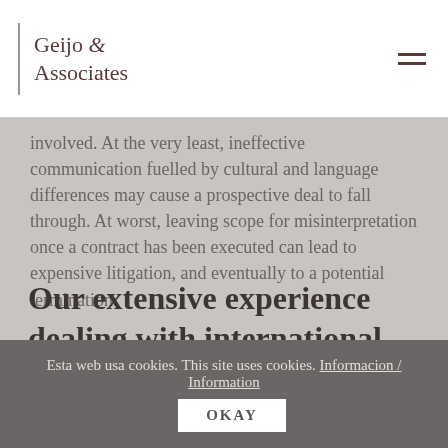Geijo & Associates
involved. At the very least, ineffective communication fuelled by cultural and language differences may cause a prospective deal to fall through. At worst, leaving scope for misinterpretation once a contract has been executed can lead to expensive litigation, and eventually to a potential termination.
Our extensive experience dealing with international contracts
Esta web usa cookies. This site uses cookies. Informacion / Information  OKAY